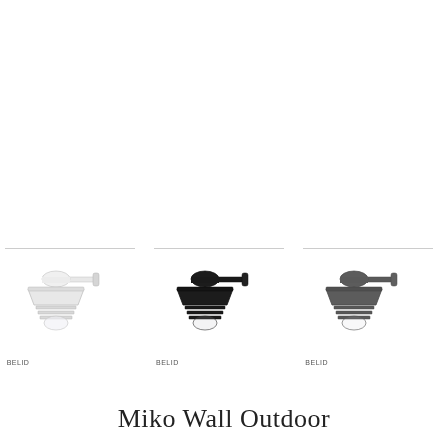[Figure (photo): Three Miko Wall Outdoor lamps shown side by side: white version on left, black version in center, dark grey version on right. Each lamp has a wide-brimmed shade with horizontal bars beneath it and a wall-mount arm extending from the right. A thin horizontal line appears above each lamp image. Below each lamp is a product code reading BELID.]
Miko Wall Outdoor